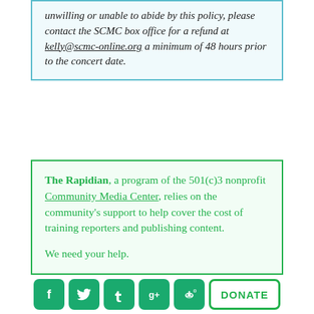unwilling or unable to abide by this policy, please contact the SCMC box office for a refund at kelly@scmc-online.org a minimum of 48 hours prior to the concert date.
The Rapidian, a program of the 501(c)3 nonprofit Community Media Center, relies on the community's support to help cover the cost of training reporters and publishing content.

We need your help.

If each of our readers and content creators who
[Figure (infographic): Social media icons (Facebook, Twitter, Tumblr, Google+, Reddit) and a DONATE button in green/teal rounded rectangles]